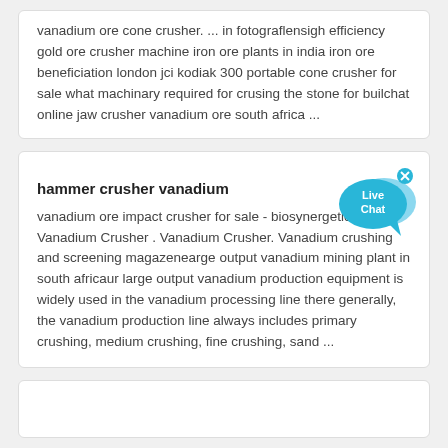vanadium ore cone crusher. ... in fotograflensigh efficiency gold ore crusher machine iron ore plants in india iron ore beneficiation london jci kodiak 300 portable cone crusher for sale what machinary required for crusing the stone for builchat online jaw crusher vanadium ore south africa ...
hammer crusher vanadium
vanadium ore impact crusher for sale - biosynergetics. Vanadium Crusher . Vanadium Crusher. Vanadium crushing and screening magazenearge output vanadium mining plant in south africaur large output vanadium production equipment is widely used in the vanadium processing line there generally, the vanadium production line always includes primary crushing, medium crushing, fine crushing, sand ...